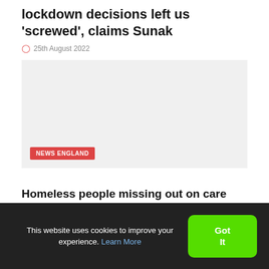lockdown decisions left us 'screwed', claims Sunak
25th August 2022
[Figure (photo): Light grey placeholder image with a red NEWS ENGLAND tag in the bottom left corner]
Homeless people missing out on care due to lack of specialist accommodation, charity warns
This website uses cookies to improve your experience. Learn More